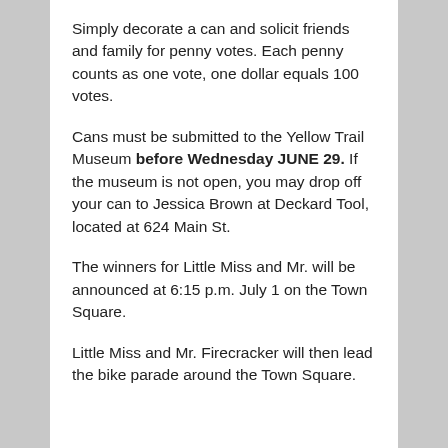Simply decorate a can and solicit friends and family for penny votes. Each penny counts as one vote, one dollar equals 100 votes.
Cans must be submitted to the Yellow Trail Museum before Wednesday JUNE 29. If the museum is not open, you may drop off your can to Jessica Brown at Deckard Tool, located at 624 Main St.
The winners for Little Miss and Mr. will be announced at 6:15 p.m. July 1 on the Town Square.
Little Miss and Mr. Firecracker will then lead the bike parade around the Town Square.